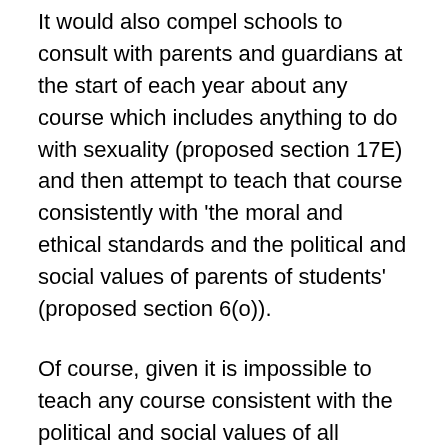It would also compel schools to consult with parents and guardians at the start of each year about any course which includes anything to do with sexuality (proposed section 17E) and then attempt to teach that course consistently with 'the moral and ethical standards and the political and social values of parents of students' (proposed section 6(o)).
Of course, given it is impossible to teach any course consistent with the political and social values of all parents, and the significant administrative hurdles involved, most schools will simply jettison all courses that mention anything to do with same-sex attraction. Lesbian, gay and bisexual content will be purged just like trans and gender diverse information before it.
Even where schools do decide to include this information,